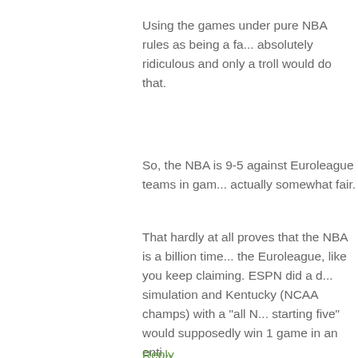Using the games under pure NBA rules as being a fa... absolutely ridiculous and only a troll would do that.
So, the NBA is 9-5 against Euroleague teams in gam... actually somewhat fair.
That hardly at all proves that the NBA is a billion time... the Euroleague, like you keep claiming. ESPN did a d... simulation and Kentucky (NCAA champs) with a "all N... starting five" would supposedly win 1 game in an enti...
You have Euroleague teams, even some of them bac... involved, with a 5-9 record in the games where the ru... Yet, we have to listen to you over and over claim that... single player in Euroleague that is good enough to pl...
Reply